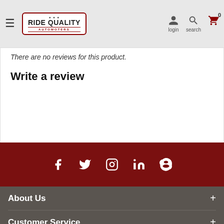Ride Quality Automoters — login, search, cart
There are no reviews for this product.
Write a review
[Figure (other): Social media icons: Facebook, Twitter, Instagram, LinkedIn, Skype on dark red bar]
About Us +
Customer Service +
My Account